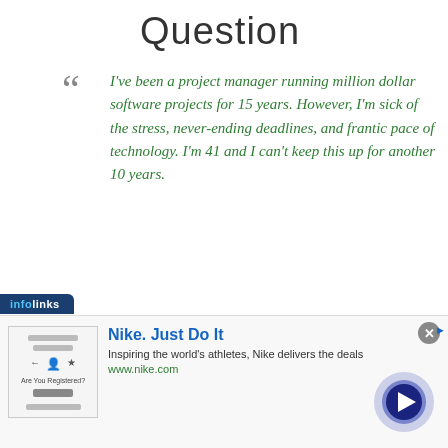Question
I've been a project manager running million dollar software projects for 15 years. However, I'm sick of the stress, never-ending deadlines, and frantic pace of technology. I'm 41 and I can't keep this up for another 10 years.
I'm trained to
[Figure (photo): Military epaulette with three gold stars on dark olive/brown fabric background]
[Figure (screenshot): Advertisement overlay: infolinks bar, Nike ad with thumb image, title 'Nike. Just Do It', description 'Inspiring the world’s athletes, Nike delivers the deals', URL www.nike.com, close button, blue arrow CTA circle]